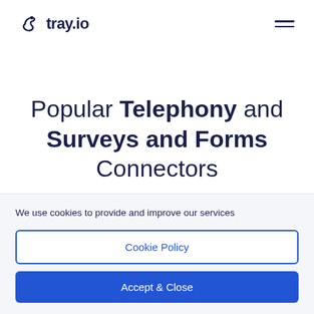tray.io
Popular Telephony and Surveys and Forms Connectors
We use cookies to provide and improve our services
Cookie Policy
Accept & Close